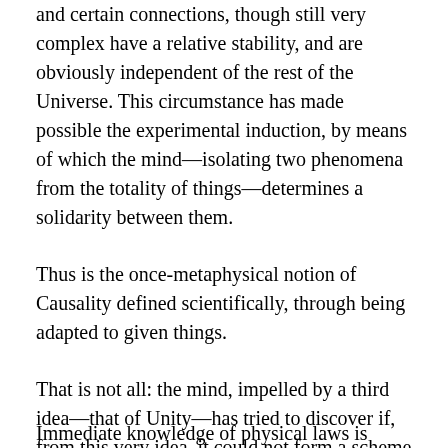and certain connections, though still very complex have a relative stability, and are obviously independent of the rest of the Universe. This circumstance has made possible the experimental induction, by means of which the mind—isolating two phenomena from the totality of things—determines a solidarity between them.
Thus is the once-metaphysical notion of Causality defined scientifically, through being adapted to given things.
That is not all: the mind, impelled by a third idea—that of Unity—has tried to discover if, from this very idea, it could not form a scheme applicable to experimental science.
Immediate knowledge of physical laws is rissemeed A